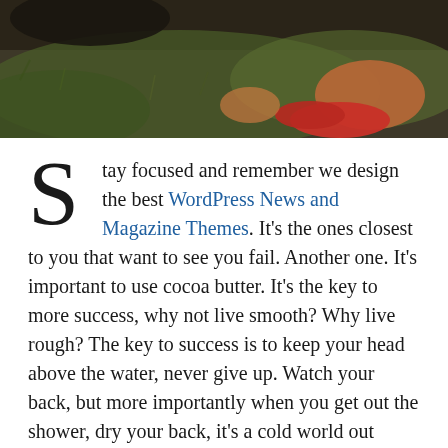[Figure (photo): Overhead photo of a person sitting on grass wearing red sneakers, with a dark hat nearby]
Stay focused and remember we design the best WordPress News and Magazine Themes. It's the ones closest to you that want to see you fail. Another one. It's important to use cocoa butter. It's the key to more success, why not live smooth? Why live rough? The key to success is to keep your head above the water, never give up. Watch your back, but more importantly when you get out the shower, dry your back, it's a cold world out there.
Also check: volokit nfl
The key to more success is to have a lot of pillows. Always remember in the jungle there's a lot of they in there, after you overcome they, you will make it to paradise. Egg